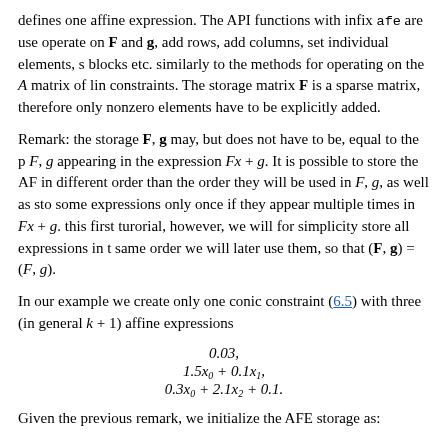defines one affine expression. The API functions with infix afe are used to operate on F and g, add rows, add columns, set individual elements, set blocks etc. similarly to the methods for operating on the A matrix of linear constraints. The storage matrix F is a sparse matrix, therefore only nonzero elements have to be explicitly added.
Remark: the storage F, g may, but does not have to be, equal to the parameters F, g appearing in the expression Fx + g. It is possible to store the AFE in different order than the order they will be used in F, g, as well as store some expressions only once if they appear multiple times in Fx + g. In this first turorial, however, we will for simplicity store all expressions in the same order we will later use them, so that (F, g) = (F, g).
In our example we create only one conic constraint (6.5) with three (in general k + 1) affine expressions
Given the previous remark, we initialize the AFE storage as: